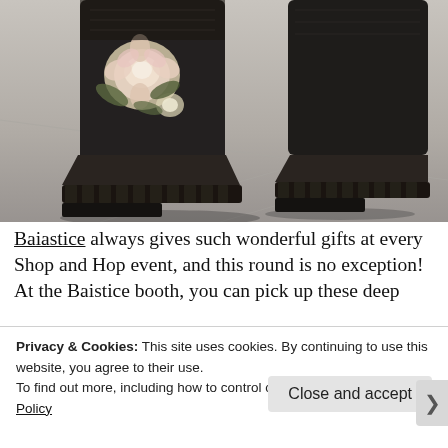[Figure (photo): Close-up photograph of black platform wedge boots with floral embroidery (pink and white roses) on a tiled floor. Two boots visible — left boot displays prominent floral design, right boot shows the wedge heel profile.]
Baiastice always gives such wonderful gifts at every Shop and Hop event, and this round is no exception! At the Baistice booth, you can pick up these deep
Privacy & Cookies: This site uses cookies. By continuing to use this website, you agree to their use.
To find out more, including how to control cookies, see here: Cookie Policy
Close and accept